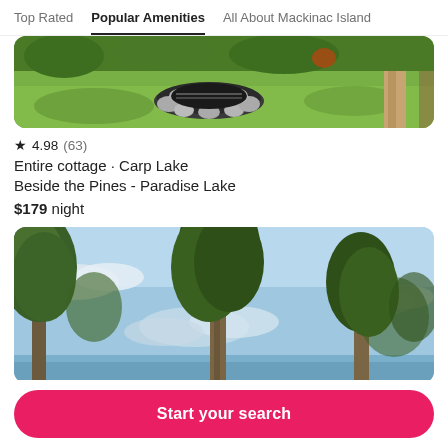Top Rated | Popular Amenities | All About Mackinac Island
[Figure (photo): Outdoor fire pit surrounded by rocks on a grassy lawn with trees in background]
★ 4.98 (63)
Entire cottage · Carp Lake
Beside the Pines - Paradise Lake
$179 night
[Figure (photo): Tall pine trees against a blue sky with white clouds, lakefront view]
Start your search